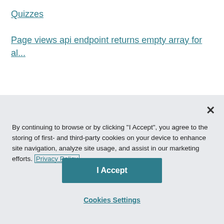Quizzes
Page views api endpoint returns empty array for al...
By continuing to browse or by clicking "I Accept", you agree to the storing of first- and third-party cookies on your device to enhance site navigation, analyze site usage, and assist in our marketing efforts. Privacy Policy
I Accept
Cookies Settings